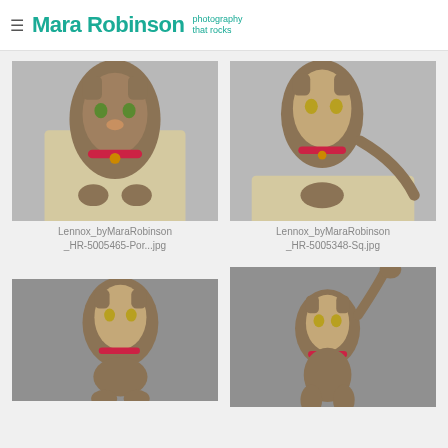Mara Robinson photography that rocks
[Figure (photo): Tabby cat sitting upright on cat tree platform, wearing red collar with bell, looking up. Studio shot with gray background.]
Lennox_byMaraRobinson_HR-5005465-Por...jpg
[Figure (photo): Tabby cat sitting sideways on cat tree platform, wearing red collar, tail extended to right, looking slightly up. Studio shot with gray background.]
Lennox_byMaraRobinson_HR-5005348-Sq.jpg
[Figure (photo): Tabby cat with red collar looking upward, partially visible, studio gray background.]
[Figure (photo): Tabby cat with red collar standing on hind legs with one paw raised high, studio gray background.]